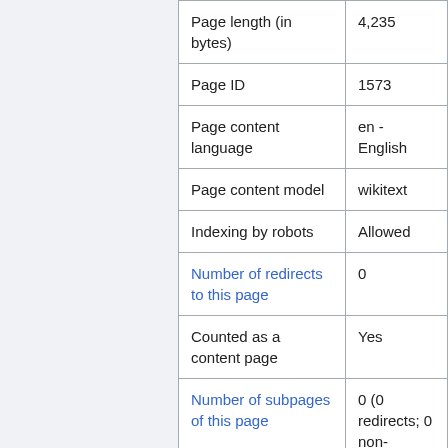| Property | Value |
| --- | --- |
| Page length (in bytes) | 4,235 |
| Page ID | 1573 |
| Page content language | en - English |
| Page content model | wikitext |
| Indexing by robots | Allowed |
| Number of redirects to this page | 0 |
| Counted as a content page | Yes |
| Number of subpages of this page | 0 (0 redirects; 0 non-redirects) |